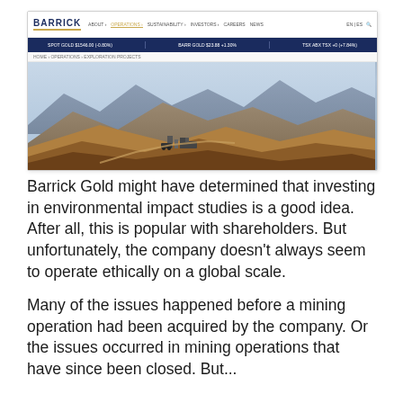[Figure (screenshot): Screenshot of Barrick Gold website showing the company logo, navigation bar with links (About, Operations, Sustainability, Investors, Careers, News), a stock ticker bar showing gold prices, breadcrumb navigation (Home > Operations > Exploration Projects), and a large hero image of an open-pit gold mine in mountainous terrain.]
Barrick Gold might have determined that investing in environmental impact studies is a good idea. After all, this is popular with shareholders. But unfortunately, the company doesn't always seem to operate ethically on a global scale.
Many of the issues happened before a mining operation had been acquired by the company. Or the issues occurred in mining operations that have since been closed. But...